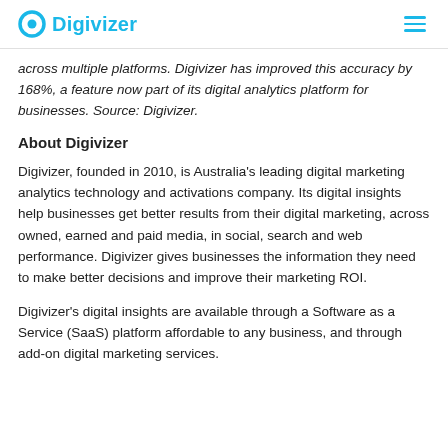Digivizer
across multiple platforms. Digivizer has improved this accuracy by 168%, a feature now part of its digital analytics platform for businesses. Source: Digivizer.
About Digivizer
Digivizer, founded in 2010, is Australia's leading digital marketing analytics technology and activations company. Its digital insights help businesses get better results from their digital marketing, across owned, earned and paid media, in social, search and web performance. Digivizer gives businesses the information they need to make better decisions and improve their marketing ROI.
Digivizer's digital insights are available through a Software as a Service (SaaS) platform affordable to any business, and through add-on digital marketing services.